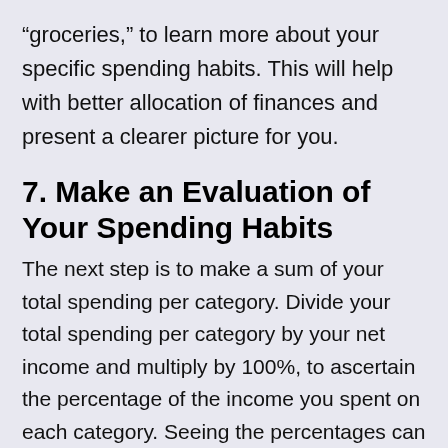“groceries,” to learn more about your specific spending habits. This will help with better allocation of finances and present a clearer picture for you.
7. Make an Evaluation of Your Spending Habits
The next step is to make a sum of your total spending per category. Divide your total spending per category by your net income and multiply by 100%, to ascertain the percentage of the income you spent on each category. Seeing the percentages can give you a clearer view and make you understand how much of your money is going where. This will help you understand where your money is being spent the most and how you can control excessive